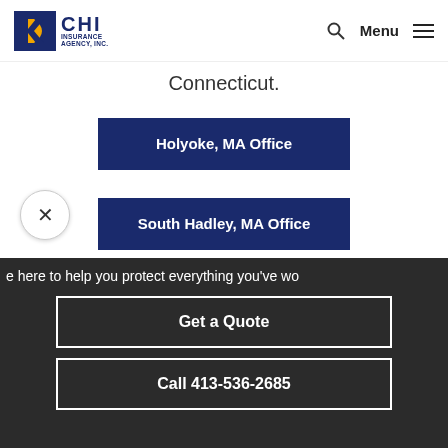[Figure (logo): CHI Insurance Agency, Inc. logo with stylized K/C icon in dark blue and gold]
Connecticut.
Holyoke, MA Office
South Hadley, MA Office
Westfield, MA Office
e here to help you protect everything you've wo
Get a Quote
Call 413-536-2685